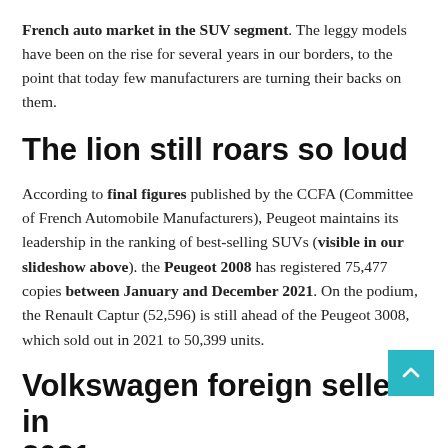French auto market in the SUV segment. The leggy models have been on the rise for several years in our borders, to the point that today few manufacturers are turning their backs on them.
The lion still roars so loud
According to final figures published by the CCFA (Committee of French Automobile Manufacturers), Peugeot maintains its leadership in the ranking of best-selling SUVs (visible in our slideshow above). the Peugeot 2008 has registered 75,477 copies between January and December 2021. On the podium, the Renault Captur (52,596) is still ahead of the Peugeot 3008, which sold out in 2021 to 50,399 units.
Volkswagen foreign seller in 2021